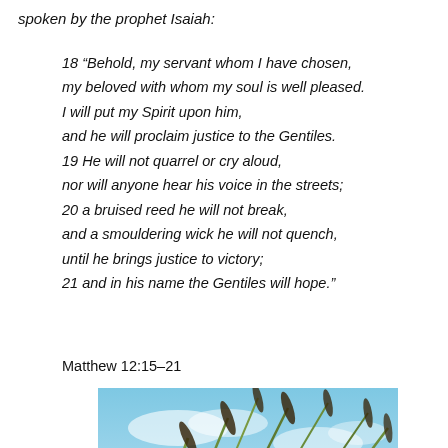spoken by the prophet Isaiah:
18 “Behold, my servant whom I have chosen, my beloved with whom my soul is well pleased. I will put my Spirit upon him, and he will proclaim justice to the Gentiles. 19 He will not quarrel or cry aloud, nor will anyone hear his voice in the streets; 20 a bruised reed he will not break, and a smouldering wick he will not quench, until he brings justice to victory; 21 and in his name the Gentiles will hope.”
Matthew 12:15–21
[Figure (photo): Photo of reed grass with long stems blowing against a blue sky background]